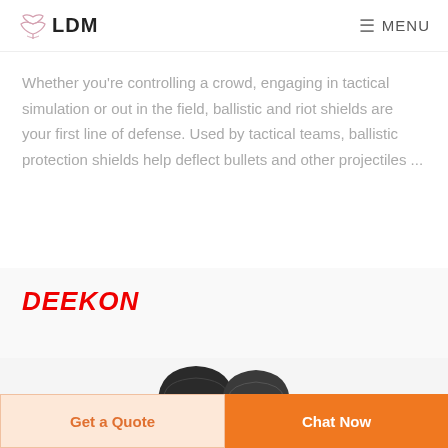LDM  MENU
Whether you're controlling a crowd, engaging in tactical simulation or out in the field, ballistic and riot shields are your first line of defense. Used by tactical teams, ballistic protection shields help deflect bullets and other projectiles ...
DEEKON
[Figure (photo): Two dark military/tactical helmets partially visible at the bottom of the card section]
Get a Quote
Chat Now